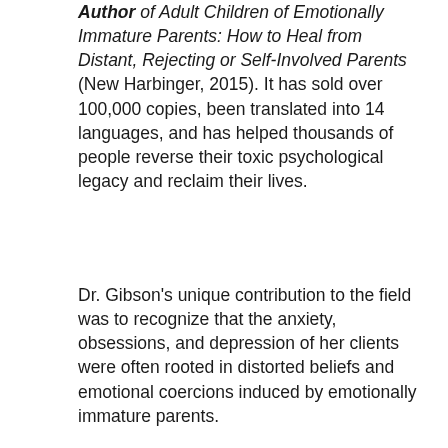Author of Adult Children of Emotionally Immature Parents: How to Heal from Distant, Rejecting or Self-Involved Parents (New Harbinger, 2015). It has sold over 100,000 copies, been translated into 14 languages, and has helped thousands of people reverse their toxic psychological legacy and reclaim their lives.
Dr. Gibson's unique contribution to the field was to recognize that the anxiety, obsessions, and depression of her clients were often rooted in distorted beliefs and emotional coercions induced by emotionally immature parents.
A psychotherapist and psychodiagnostician for over thirty years, Dr. Gibson came to realize how prevalent emotional immaturity was in the family members of her clients. Many had parents that were functional people, not extreme on the spectrum of mental health conditions, yet the destructive phenomenon of parental emotional immaturity had devastating consequences for those who grew up in its wake.
Dr. Gibson continues to work as a clinical psychologist in